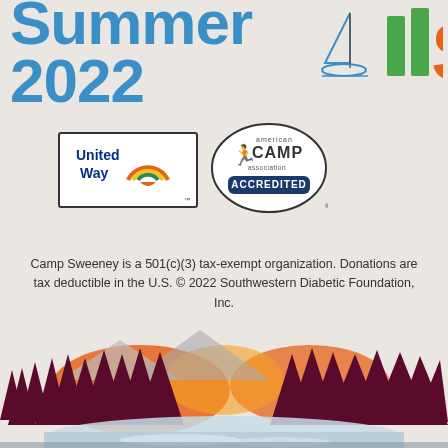Summer 2022
[Figure (logo): United Way logo with rainbow arc and hands icon]
[Figure (logo): American Camp Association Accredited logo oval badge]
Camp Sweeney is a 501(c)(3) tax-exempt organization. Donations are tax deductible in the U.S. © 2022 Southwestern Diabetic Foundation, Inc.
All rights reserved. All photography © Camp Sweeney, unless otherwise noted. Site Terms & Privacy Policy
Designed and Developed in the USA by Darkspire, Inc.
[Figure (illustration): Silhouette landscape with dark maroon pine trees, orange sunset sky, mountains, and a reflective lake/river in the foreground]